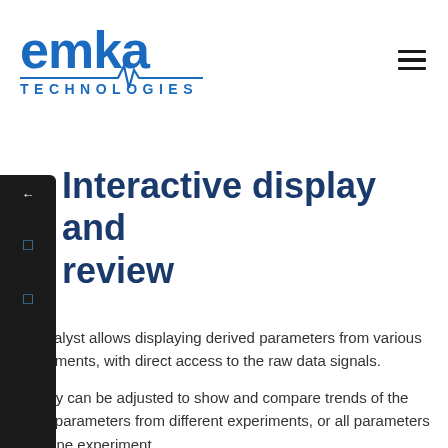[Figure (logo): emka TECHNOLOGIES logo in blue with heartbeat/ECG line graphic]
Interactive display and review
Datanalyst allows displaying derived parameters from various experiments, with direct access to the raw data signals.
Display can be adjusted to show and compare trends of the same parameters from different experiments, or all parameters from one experiment.